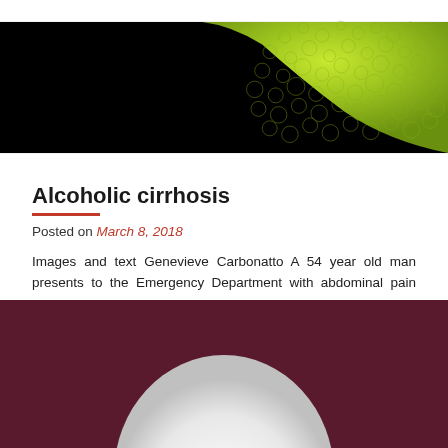[Figure (photo): Ultrasound or medical imaging showing green/yellow textured structure against black background - top portion of image cropped]
Alcoholic cirrhosis
Posted on March 8, 2018
Images and text Genevieve Carbonatto A 54 year old man presents to the Emergency Department with abdominal pain and jaundice. He has a distended abdomen. He is known to have alcoholic cirrhosis. A point of care ultrasound was performed. The following demonstrates some of the basic features of cirrhosis with ultrasound. Liver size, increased echogenicity [...]
Posted in Cases, Liver   Leave a comment
[Figure (photo): Medical imaging showing white rounded oval structure against dark maroon/purple background - bottom portion of page]